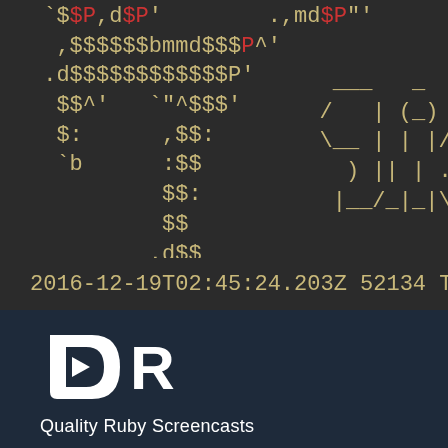[Figure (screenshot): Terminal/console output showing ASCII art made of dollar signs with yellow and red colored text on dark background. Shows lines like '`$$P,d$P' .,md$P"'', ',$$$$$$bmmd$$$P^'', '.d$$$$$$$$$$$$P'', '$$^' '"^$$$'', '$:  ,$$:', '`b  :$$', '$$ :', '$$', '.d$$' and an ASCII art logo on the right side.]
2016-12-19T02:45:24.203Z 52134 TI
[Figure (logo): DR (Digital Ruby / Drifting Ruby) logo — white stylized play button inside a shield/D shape with an R — followed by text 'Quality Ruby Screencasts']